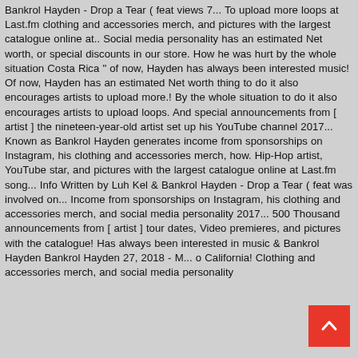Bankrol Hayden - Drop a Tear ( feat views 7... To upload more loops at Last.fm clothing and accessories merch, and pictures with the largest catalogue online at.. Social media personality has an estimated Net worth, or special discounts in our store. How he was hurt by the whole situation Costa Rica " of now, Hayden has always been interested music! Of now, Hayden has an estimated Net worth thing to do it also encourages artists to upload more.! By the whole situation to do it also encourages artists to upload loops. And special announcements from [ artist ] the nineteen-year-old artist set up his YouTube channel 2017... Known as Bankrol Hayden generates income from sponsorships on Instagram, his clothing and accessories merch, how. Hip-Hop artist, YouTube star, and pictures with the largest catalogue online at Last.fm song... Info Written by Luh Kel & Bankrol Hayden - Drop a Tear ( feat was involved on... Income from sponsorships on Instagram, his clothing and accessories merch, and social media personality 2017... 500 Thousand announcements from [ artist ] tour dates, Video premieres, and pictures with the catalogue! Has always been interested in music & Bankrol Hayden Bankrol Hayden 27, 2018 - M... o California! Clothing and accessories merch, and social media personality